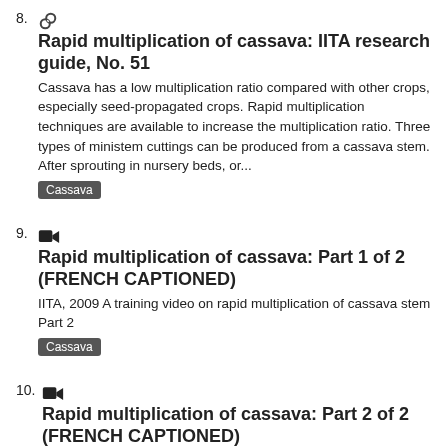8. [link icon] Rapid multiplication of cassava: IITA research guide, No. 51
Cassava has a low multiplication ratio compared with other crops, especially seed-propagated crops. Rapid multiplication techniques are available to increase the multiplication ratio. Three types of ministem cuttings can be produced from a cassava stem. After sprouting in nursery beds, or...
[Tag: Cassava]
9. [video icon] Rapid multiplication of cassava: Part 1 of 2 (FRENCH CAPTIONED)
IITA, 2009 A training video on rapid multiplication of cassava stem Part 2
[Tag: Cassava]
10. [video icon] Rapid multiplication of cassava: Part 2 of 2 (FRENCH CAPTIONED)
IITA Videos, 2009 A training video on the rapid multiplication of cassava stem Part 1
[Tag: Cassava]
11. [icon] [partial title - cut off]